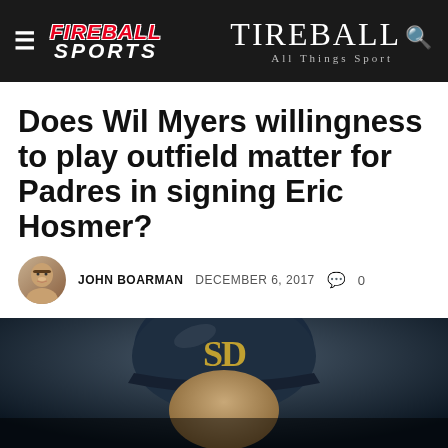FIREBALL SPORTS | TIREBALL All Things Sport
Does Wil Myers willingness to play outfield matter for Padres in signing Eric Hosmer?
JOHN BOARMAN   DECEMBER 6, 2017   0
[Figure (photo): Photo of a baseball player wearing a San Diego Padres helmet with the SD logo, shot from below in low light]